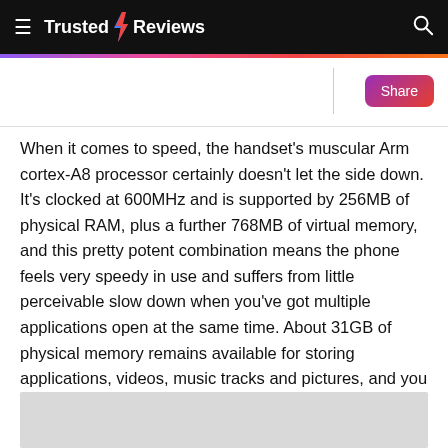≡ Trusted ⚡ Reviews  🔍
When it comes to speed, the handset's muscular Arm cortex-A8 processor certainly doesn't let the side down. It's clocked at 600MHz and is supported by 256MB of physical RAM, plus a further 768MB of virtual memory, and this pretty potent combination means the phone feels very speedy in use and suffers from little perceivable slow down when you've got multiple applications open at the same time. About 31GB of physical memory remains available for storing applications, videos, music tracks and pictures, and you can add another 16GB via microSD cards.
[Figure (other): Gray placeholder image area at the bottom of the page]